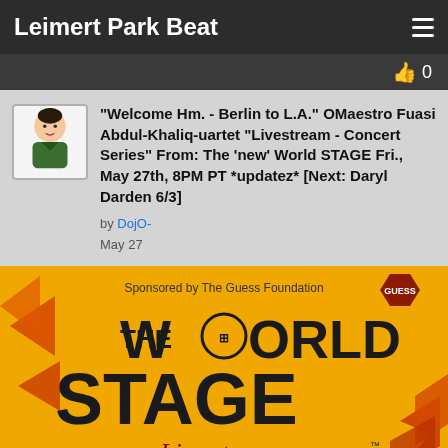Leimert Park Beat
👍 0
"Welcome Hm. - Berlin to L.A." OMaestro Fuasi Abdul-Khaliq-uartet "Livestream - Concert Series" From: The 'new' World STAGE Fri., May 27th, 8PM PT *updatez* [Next: Daryl Darden 6/3]
by DojO-
May 27
[Figure (illustration): The World Stage Live Stream Concert Series 2022 promotional image on yellow/orange background with large bold text and chevron graphics. Sponsored by The Guess Foundation with GUESS logo visible.]